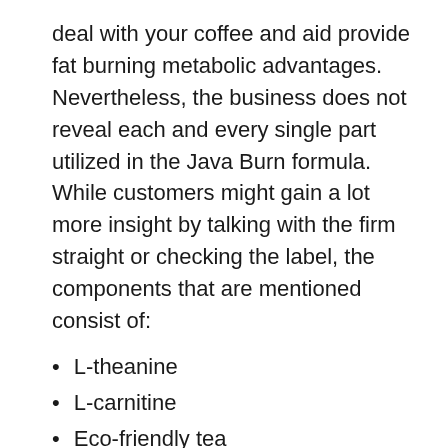deal with your coffee and aid provide fat burning metabolic advantages. Nevertheless, the business does not reveal each and every single part utilized in the Java Burn formula. While customers might gain a lot more insight by talking with the firm straight or checking the label, the components that are mentioned consist of:
L-theanine
L-carnitine
Eco-friendly tea
Chromium-enriched yeast
The developers use a GMP-certified facility registered with the FDA to prepare all of the active ingredients within the patent-pending formula. Read on listed below to find out